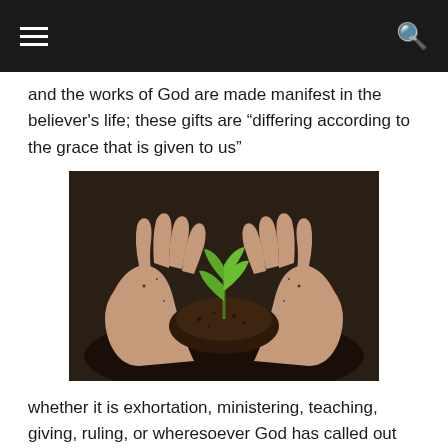and the works of God are made manifest in the believer's life; these gifts are “differing according to the grace that is given to us”
[Figure (photo): Two cupped hands covered in soil holding a small green seedling plant with several leaves, set against a dark blurred background.]
whether it is exhortation, ministering, teaching, giving, ruling, or wheresoever God has called out the exercise of faith, He gives it by grace “according to the proportion of faith” He